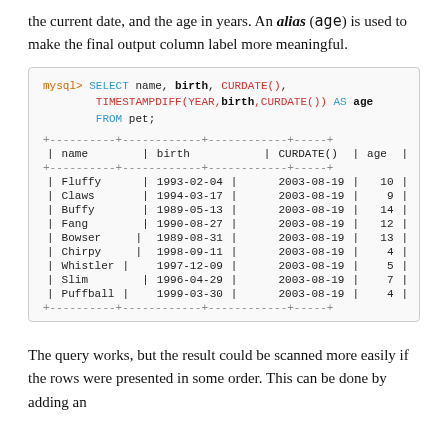the current date, and the age in years. An alias (age) is used to make the final output column label more meaningful.
[Figure (screenshot): MySQL code block showing SELECT query with TIMESTAMPDIFF and a result table listing pet names, birth dates, CURDATE() values, and ages.]
The query works, but the result could be scanned more easily if the rows were presented in some order. This can be done by adding an